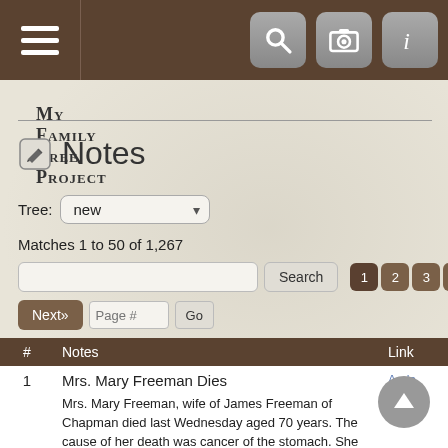My Family Tree Project — Notes page header with navigation icons
My Family Tree Project
Notes
Tree: new
Matches 1 to 50 of 1,267
| # | Notes | Link |
| --- | --- | --- |
| 1 | Mrs. Mary Freeman Dies

Mrs. Mary Freeman, wife of James Freeman of Chapman died last Wednesday aged 70 years. The cause of her death was cancer of the stomach. She leaves to mourn their loss husband, two daughters and | Ande
Mary |